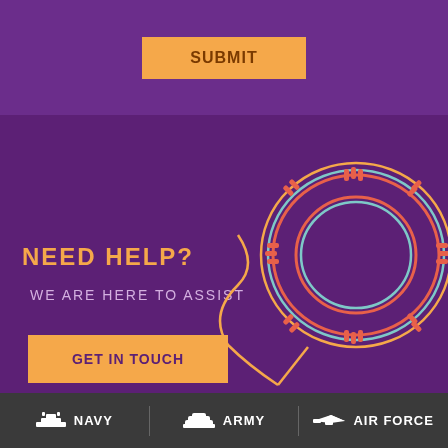SUBMIT
NEED HELP?
WE ARE HERE TO ASSIST
GET IN TOUCH
[Figure (illustration): Life preserver ring illustration with orange, red and blue concentric ring outlines and a trailing rope, drawn in line art style on purple background]
NAVY
ARMY
AIR FORCE